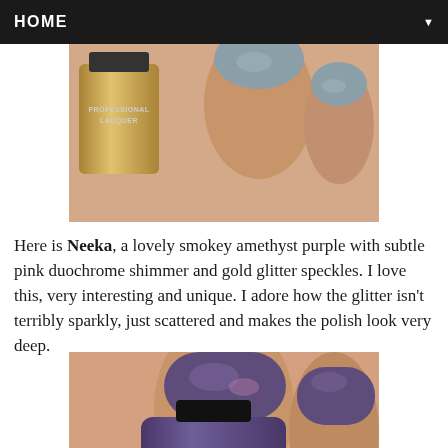HOME
[Figure (photo): Close-up photo of a nail polish bottle labeled 'Professional Lacquer' next to a hand with blue-grey shimmer nail polish applied]
Here is Neeka, a lovely smokey amethyst purple with subtle pink duochrome shimmer and gold glitter speckles. I love this, very interesting and unique. I adore how the glitter isn't terribly sparkly, just scattered and makes the polish look very deep.
[Figure (photo): Close-up photo of a Zoya nail polish bottle labeled 'ZOYA' next to a hand with deep purple shimmer nail polish applied]